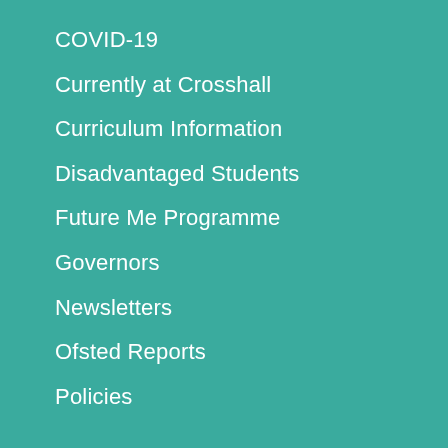COVID-19
Currently at Crosshall
Curriculum Information
Disadvantaged Students
Future Me Programme
Governors
Newsletters
Ofsted Reports
Policies